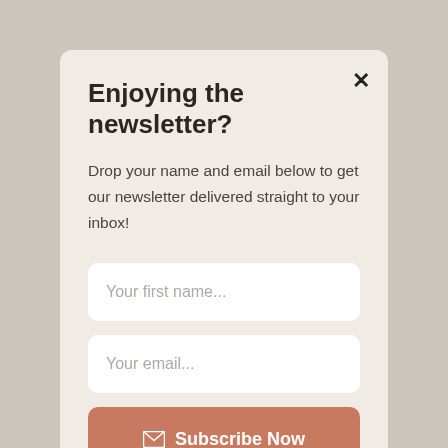Enjoying the newsletter?
Drop your name and email below to get our newsletter delivered straight to your inbox!
Your first name...
Your email...
Subscribe Now